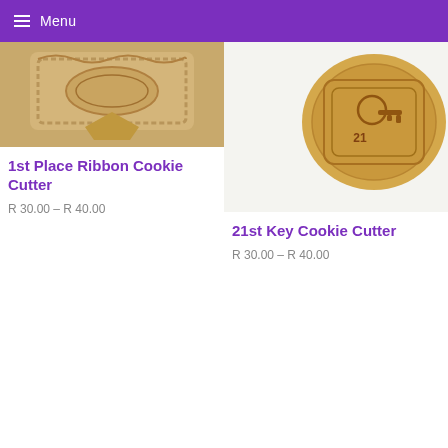Menu
[Figure (photo): Photo of 1st place ribbon-shaped cookie cutter, tan/beige color with decorative border detail on a warm background]
1st Place Ribbon Cookie Cutter
R 30.00 – R 40.00
[Figure (photo): Photo of 21st Key cookie cutter shaped as a round/oval cookie with key number 21 embossed, golden brown color on light background]
21st Key Cookie Cutter
R 30.00 – R 40.00